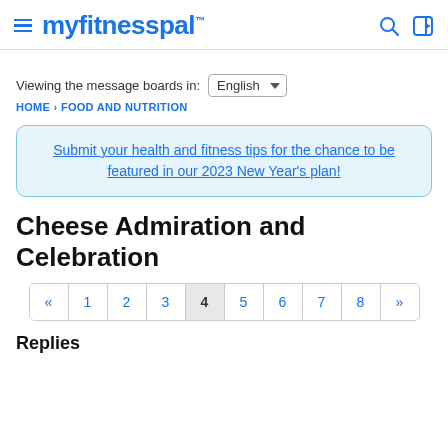myfitnesspal
Viewing the message boards in: English
HOME › FOOD AND NUTRITION
Submit your health and fitness tips for the chance to be featured in our 2023 New Year's plan!
Cheese Admiration and Celebration
« 1 2 3 4 5 6 7 8 »
Replies